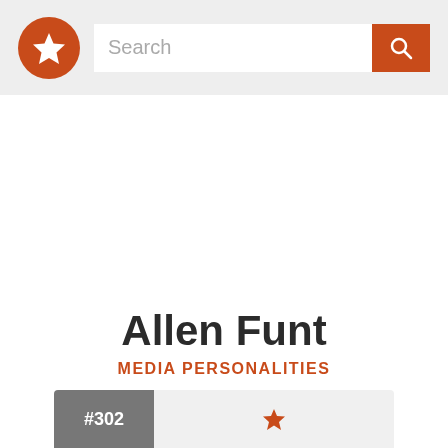Search
Allen Funt
MEDIA PERSONALITIES
#302